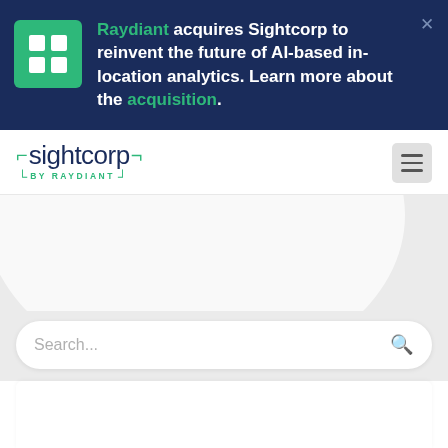Raydiant acquires Sightcorp to reinvent the future of AI-based in-location analytics. Learn more about the acquisition.
[Figure (logo): Sightcorp by Raydiant logo — bold text with green bracket frame and 'BY RAYDIANT' subtext]
[Figure (illustration): Light gray hero background with a large white rounded blob/circle shape]
Search...